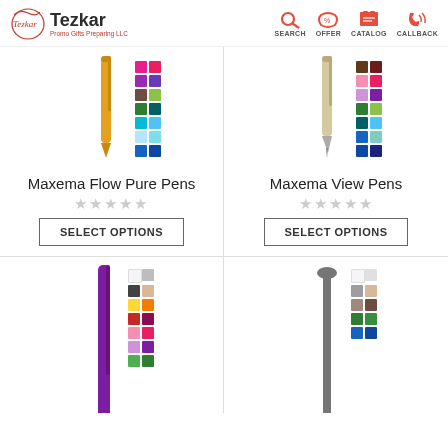Tezkar - Promo Gifts Preparing LLC | SEARCH | OFFER | CATALOG | CALLBACK
[Figure (photo): Yellow Maxema Flow Pure Pen with color swatches grid]
Maxema Flow Pure Pens
★★★★★ (empty stars)
SELECT OPTIONS
[Figure (photo): Beige/cream Maxema View Pen with color swatches grid]
Maxema View Pens
★★★★★ (empty stars)
SELECT OPTIONS
[Figure (photo): Purple pen with color swatches grid (bottom left, partially visible)]
[Figure (photo): Gray pen with color swatches grid (bottom right, partially visible)]